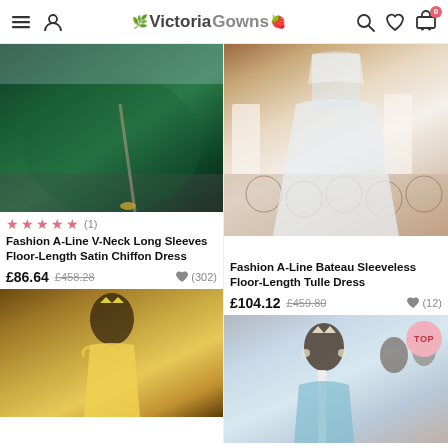VictoriaGowns — navigation header with menu, account, search, wishlist, cart icons
[Figure (photo): Dark green satin A-line gown with high slit, worn outdoors, flowing dramatically]
[Figure (photo): White/ivory tulle A-line ballgown, bateau neckline, worn outdoors on decorative tile floor]
★★★★★ (1)
Fashion A-Line V-Neck Long Sleeves Floor-Length Satin Chiffon Dress
£86.64  £458.28  ♥ (302)
Fashion A-Line Bateau Sleeveless Floor-Length Tulle Dress
£104.12  £459.80  ♥ (12)
[Figure (photo): Woman in yellow off-shoulder gown wearing a tiara crown, against gold/tan background]
[Figure (photo): Woman in teal/mint dress with white straps, wearing tiara, with people in background; TOP badge overlay]